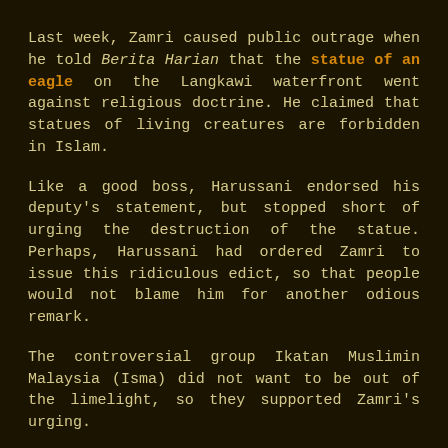Last week, Zamri caused public outrage when he told Berita Harian that the statue of an eagle on the Langkawi waterfront went against religious doctrine. He claimed that statues of living creatures are forbidden in Islam.
Like a good boss, Harussani endorsed his deputy's statement, but stopped short of urging the destruction of the statue. Perhaps, Harussani had ordered Zamri to issue this ridiculous edict, so that people would not blame him for another odious remark.
The controversial group Ikatan Muslimin Malaysia (Isma) did not want to be out of the limelight, so they supported Zamri's urging.
The way things are going, there will come a time when an overzealous mufti will proclaim that the practice of hanging portraits of the royals and the PM in our business premises is a form of idol worship and demand that these be banned.
How much more can the rakyat take? The Tunku's brainchild, the National Monument (Tugu Peringatan Negara), is no longer the place where Malaysians pay their respects to our fallen heroes, on Warriors Day. In 2010, the National Fatwa Council ruled that the